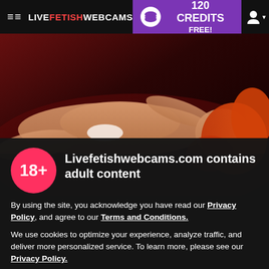LIVEFETISHWEBCAMS — 120 CREDITS FREE!
[Figure (photo): Woman with red hair lying on red background, adult content preview image]
Livefetishwebcams.com contains adult content
By using the site, you acknowledge you have read our Privacy Policy, and agree to our Terms and Conditions.
We use cookies to optimize your experience, analyze traffic, and deliver more personalized service. To learn more, please see our Privacy Policy.
I AGREE